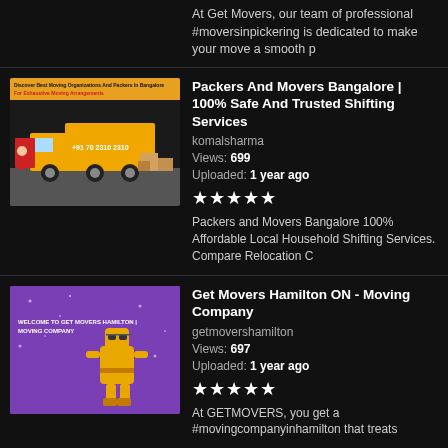At Get Movers, our team of professional #moversinpickering is dedicated to make your move a smooth p
[Figure (illustration): Thumbnail showing yellow truck with packers and movers Bangalore advertisement]
Packers And Movers Bangalore | 100% Safe And Trusted Shifting Services
komalsharma
Views: 699
Uploaded: 1 year ago
★★★★★
Packers and Movers Bangalore 100% Affordable Local Household Shifting Services. Compare Relocation C
[Figure (illustration): Purple background thumbnail for Get Movers Hamilton ON Moving Company with cartoon robot character]
Get Movers Hamilton ON - Moving Company
getmovershamilton
Views: 697
Uploaded: 1 year ago
★★★★★
At GETMOVERS, you get a #movingcompanyinhamilton that treats